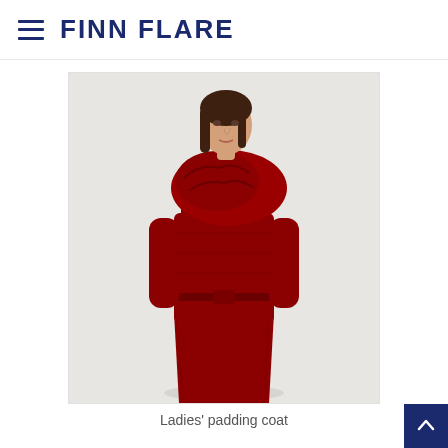FINN FLARE
[Figure (photo): A woman wearing a long red padded/puffer coat with a large draped hood/scarf collar and belted waist, paired with brown trousers and black ankle boots, posed against a light grey background.]
Ladies' padding coat